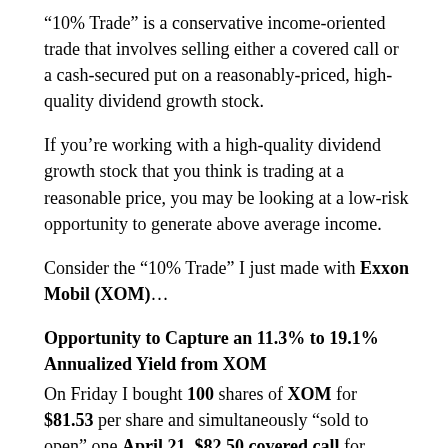“10% Trade” is a conservative income-oriented trade that involves selling either a covered call or a cash-secured put on a reasonably-priced, high-quality dividend growth stock.
If you’re working with a high-quality dividend growth stock that you think is trading at a reasonable price, you may be looking at a low-risk opportunity to generate above average income.
Consider the “10% Trade” I just made with Exxon Mobil (XOM)…
Opportunity to Capture an 11.3% to 19.1% Annualized Yield from XOM
On Friday I bought 100 shares of XOM for $81.53 per share and simultaneously “sold to open” one April 21, $82.50 covered call for $1.50 per share.